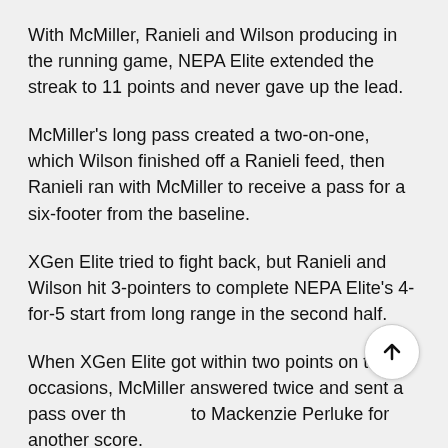With McMiller, Ranieli and Wilson producing in the running game, NEPA Elite extended the streak to 11 points and never gave up the lead.
McMiller's long pass created a two-on-one, which Wilson finished off a Ranieli feed, then Ranieli ran with McMiller to receive a pass for a six-footer from the baseline.
XGen Elite tried to fight back, but Ranieli and Wilson hit 3-pointers to complete NEPA Elite's 4-for-5 start from long range in the second half.
When XGen Elite got within two points on three occasions, McMiller answered twice and sent a pass over the to Mackenzie Perluke for another score.